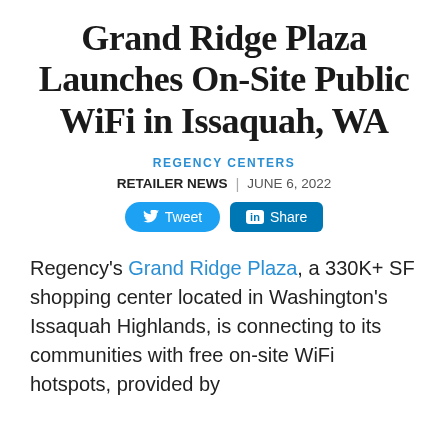Grand Ridge Plaza Launches On-Site Public WiFi in Issaquah, WA
REGENCY CENTERS
RETAILER NEWS | JUNE 6, 2022
Regency's Grand Ridge Plaza, a 330K+ SF shopping center located in Washington's Issaquah Highlands, is connecting to its communities with free on-site WiFi hotspots, provided by